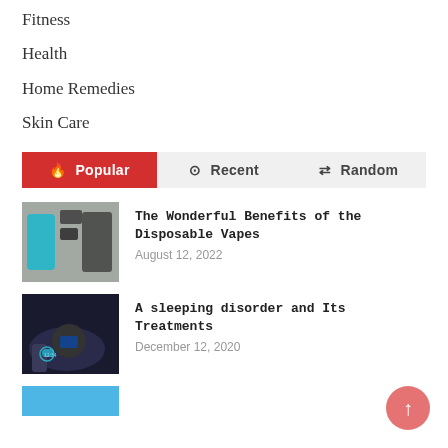Fitness
Health
Home Remedies
Skin Care
Popular  Recent  Random
[Figure (photo): Disposable vape devices on a surface]
The Wonderful Benefits of the Disposable Vapes
August 12, 2022
[Figure (photo): Person sleeping with a glowing smart watch]
A sleeping disorder and Its Treatments
December 12, 2020
[Figure (photo): Partial thumbnail of a third article]